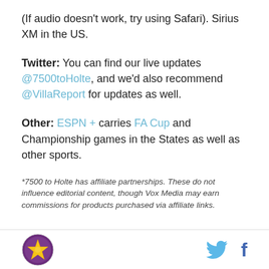(If audio doesn't work, try using Safari). Sirius XM in the US.
Twitter: You can find our live updates @7500toHolte, and we'd also recommend @VillaReport for updates as well.
Other: ESPN + carries FA Cup and Championship games in the States as well as other sports.
*7500 to Holte has affiliate partnerships. These do not influence editorial content, though Vox Media may earn commissions for products purchased via affiliate links.
[Logo] [Twitter icon] [Facebook icon]